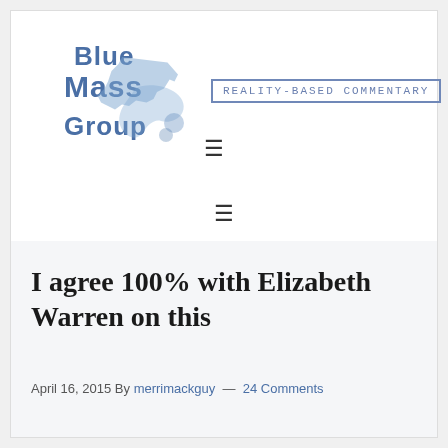[Figure (logo): Blue Mass Group logo with stylized text and Massachusetts state outline illustration in blue]
REALITY-BASED COMMENTARY
≡ (navigation menu icon)
≡ (navigation menu icon, second bar)
I agree 100% with Elizabeth Warren on this
April 16, 2015 By merrimackguy — 24 Comments